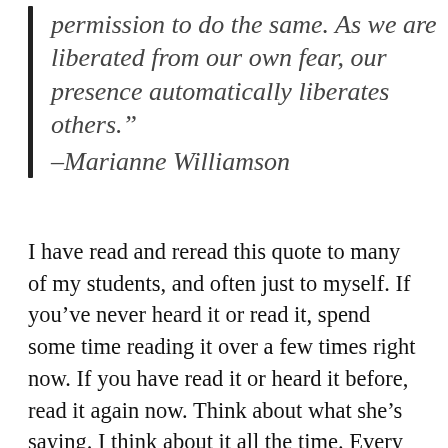permission to do the same. As we are liberated from our own fear, our presence automatically liberates others." –Marianne Williamson
I have read and reread this quote to many of my students, and often just to myself. If you've never heard it or read it, spend some time reading it over a few times right now. If you have read it or heard it before, read it again now. Think about what she's saying. I think about it all the time. Every time I am tempted to, say, dumb down a sentence because I think maybe the audience won't understand it. Or every time I am singing in public and catch